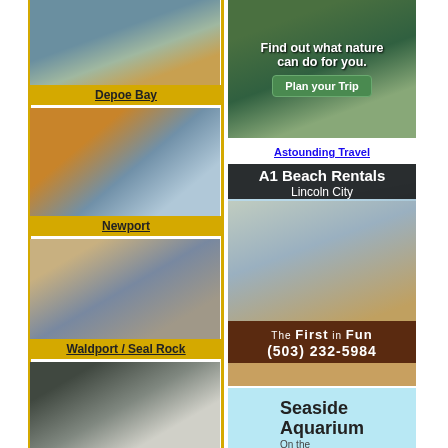[Figure (photo): Coastal rocky shore photo labeled Depoe Bay]
Depoe Bay
[Figure (photo): Newport bridge over bay photo labeled Newport]
Newport
[Figure (photo): Rocky shore with sea stacks labeled Waldport / Seal Rock]
Waldport / Seal Rock
[Figure (photo): Crashing waves on rocks labeled Yachats]
Yachats
[Figure (photo): Rocky coastline, partial, unlabeled]
[Figure (photo): Ad: Find out what nature can do for you. Plan your Trip. Astounding Travel]
Astounding Travel
[Figure (photo): Ad: A1 Beach Rentals Lincoln City – The First in Fun (503) 232-5984]
[Figure (photo): Ad: Seaside Aquarium On the Beach]